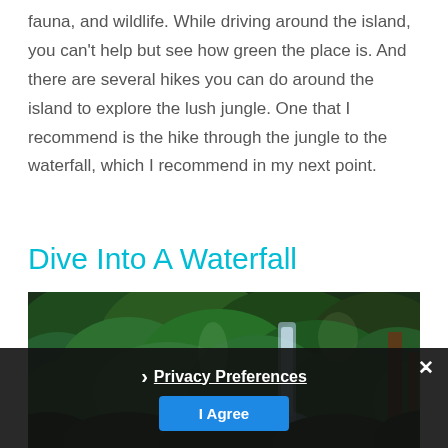fauna, and wildlife. While driving around the island, you can't help but see how green the place is. And there are several hikes you can do around the island to explore the lush jungle. One that I recommend is the hike through the jungle to the waterfall, which I recommend in my next point.
Dive Into A Waterfall
[Figure (photo): Lush green jungle scene with a waterfall cascading down rocks surrounded by dense tropical vegetation]
Privacy Preferences  |  I Agree